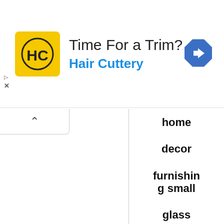[Figure (advertisement): Hair Cuttery ad banner with yellow logo, headline 'Time For a Trim?' and blue subtext 'Hair Cuttery', navigation icon top right]
home
decor
furnishing small
glass
lamps
occasional chairs
nautical